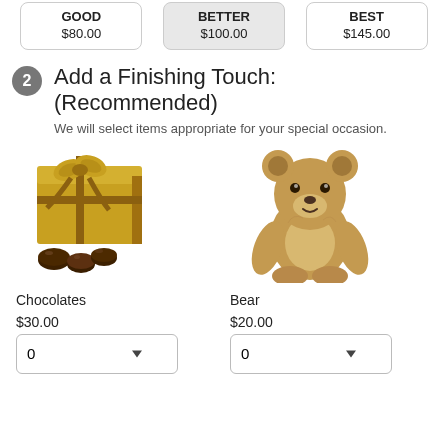GOOD $80.00
BETTER $100.00
BEST $145.00
2 Add a Finishing Touch: (Recommended)
We will select items appropriate for your special occasion.
[Figure (photo): Gold box of chocolates with ribbon and bow, accompanied by loose chocolate truffles]
Chocolates
$30.00
[Figure (photo): Tan/brown stuffed teddy bear sitting upright]
Bear
$20.00